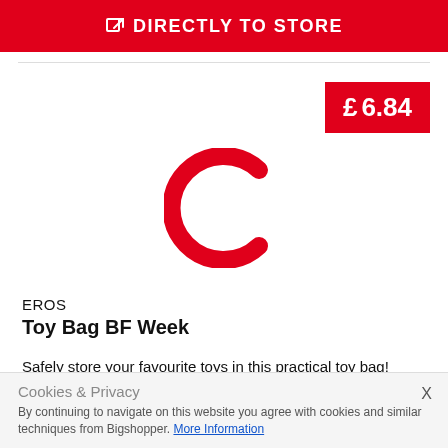DIRECTLY TO STORE
£ 6.84
[Figure (logo): Large red letter C logo centered on white background]
EROS
Toy Bag BF Week
Safely store your favourite toys in this practical toy bag! Size: 35 x 24 cm...
Cookies & Privacy
By continuing to navigate on this website you agree with cookies and similar techniques from Bigshopper. More Information